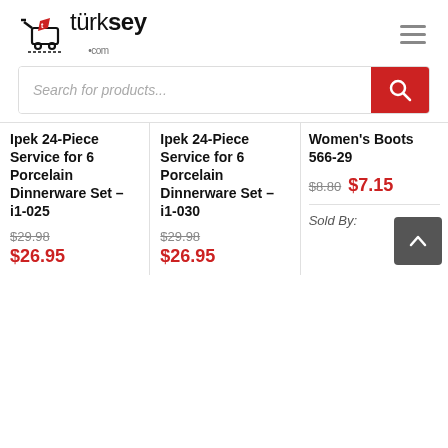[Figure (logo): Turksey.com shopping cart logo with red cart icon and black text]
Search for products...
Ipek 24-Piece Service for 6 Porcelain Dinnerware Set – i1-025
$29.98
$26.95
Ipek 24-Piece Service for 6 Porcelain Dinnerware Set – i1-030
$29.98
$26.95
Women's Boots 566-29
$8.80  $7.15
Sold By:
ELMAS MODA